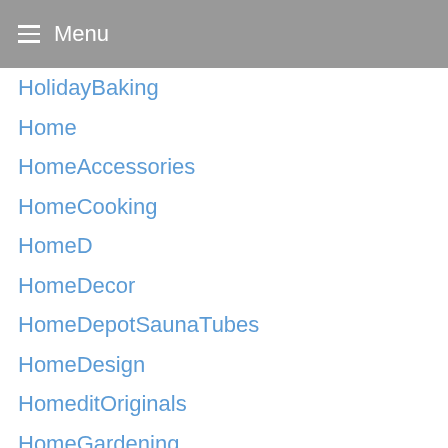Menu
HolidayBaking
Home
HomeAccessories
HomeCooking
HomeD
HomeDecor
HomeDepotSaunaTubes
HomeDesign
HomeditOriginals
HomeGardening
HomegrownFruit
HomeHacks
HomeIdeas
HomeImprovement
HomeInterior
Homekeeping
HomemadeFrontYardDeocr